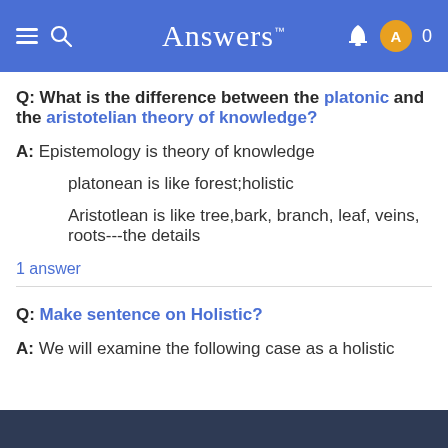Answers™
Q: What is the difference between the platonic and the aristotelian theory of knowledge?
A: Epistemology is theory of knowledge

    platonean is like forest;holistic

    Aristotlean is like tree,bark, branch, leaf, veins, roots---the details
1 answer
Q: Make sentence on Holistic?
A: We will examine the following case as a holistic